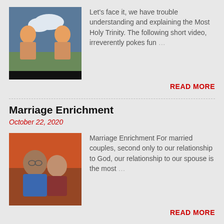[Figure (photo): Two cartoon characters facing each other with a landscape in the background]
Let's face it, we have trouble understanding and explaining the Most Holy Trinity. The following short video, irreverently pokes fun …
READ MORE
Marriage Enrichment
October 22, 2020
[Figure (photo): A couple (man and woman) posing together outdoors]
Marriage Enrichment For married couples, second only to our relationship to God, our relationship to our spouse is the most …
READ MORE
The Vulnerability of Christ
November 19, 2020